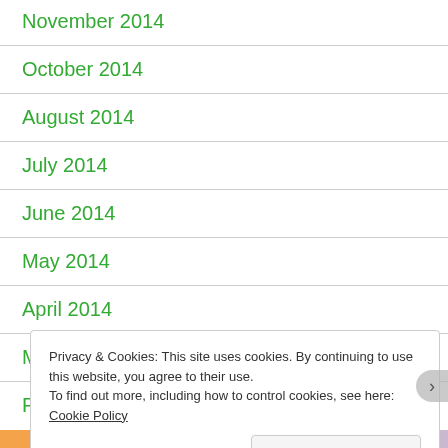November 2014
October 2014
August 2014
July 2014
June 2014
May 2014
April 2014
March 2014
February 2014
Privacy & Cookies: This site uses cookies. By continuing to use this website, you agree to their use.
To find out more, including how to control cookies, see here: Cookie Policy
Close and accept